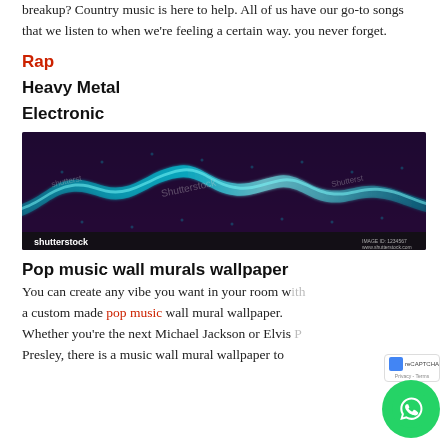breakup? Country music is here to help. All of us have our go-to songs that we listen to when we're feeling a certain way. you never forget.
Rap
Heavy Metal
Electronic
[Figure (illustration): Shutterstock watermarked image of a dark purple/black background with glowing teal/cyan digital sound wave or particle wave visualization]
Pop music wall murals wallpaper
You can create any vibe you want in your room with a custom made pop music wall mural wallpaper. Whether you're the next Michael Jackson or Elvis Presley, there is a music wall mural wallpaper to